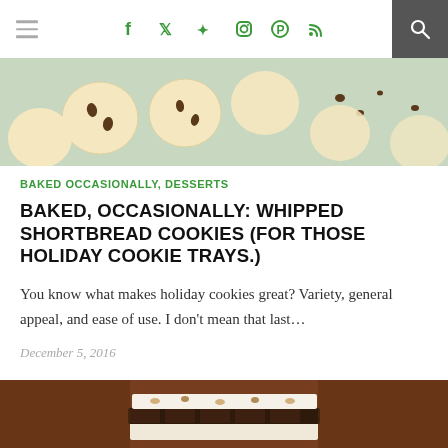Navigation bar with hamburger menu, social icons (f, twitter, instagram, pinterest, rss), and search
[Figure (photo): Top-down photo of round shortbread cookies with chocolate chips on a light blue surface]
BAKED OCCASIONALLY, DESSERTS
BAKED, OCCASIONALLY: WHIPPED SHORTBREAD COOKIES (FOR THOSE HOLIDAY COOKIE TRAYS.)
You know what makes holiday cookies great? Variety, general appeal, and ease of use. I don't mean that last…
December 5, 2016
[Figure (photo): Close-up photo of stacked chocolate and marshmallow sandwich cookies/s'mores bars on a dark surface]